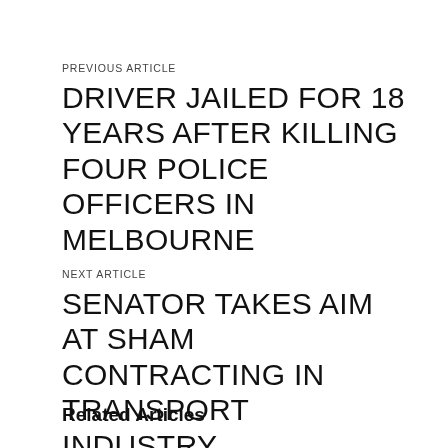PREVIOUS ARTICLE
DRIVER JAILED FOR 18 YEARS AFTER KILLING FOUR POLICE OFFICERS IN MELBOURNE
NEXT ARTICLE
SENATOR TAKES AIM AT SHAM CONTRACTING IN TRANSPORT INDUSTRY
Related Articles